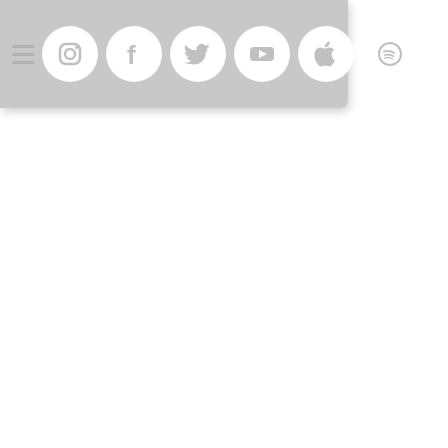[Figure (screenshot): A navigation bar with a hamburger menu icon followed by six circular white social media icons (Instagram, Facebook, Twitter, YouTube, Apple, Spotify) on a light gray rounded rectangle background.]